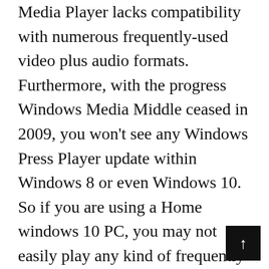Media Player lacks compatibility with numerous frequently-used video plus audio formats. Furthermore, with the progress Windows Media Middle ceased in 2009, you won't see any Windows Press Player update within Windows 8 or even Windows 10. So if you are using a Home windows 10 PC, you may not easily play any kind of frequently-used video/audio file format with Windows Media Center, not to point out DVD and Blu-ray.
If if you're searching for a decent laptop computer with a CD push around the cheap therefore that it is not going to break your b the Lenovo ThinkPad E570 is a good excellent